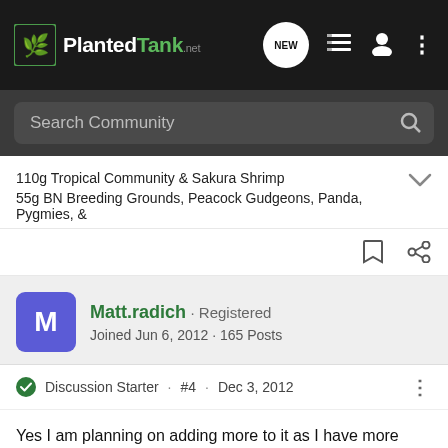PlantedTank · NEW
Search Community
110g Tropical Community & Sakura Shrimp
55g BN Breeding Grounds, Peacock Gudgeons, Panda, Pygmies, &
Matt.radich · Registered
Joined Jun 6, 2012 · 165 Posts
Discussion Starter · #4 · Dec 3, 2012
Yes I am planning on adding more to it as I have more time/knowledge of planted tanks. Hoping to get a piece of driftwood for my bigger tank as soon as it's set up, going to try the same style hopefully, just less cluttered